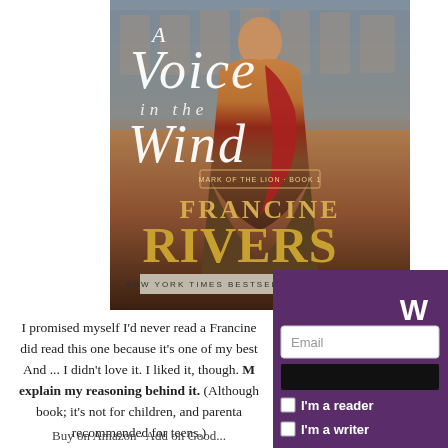[Figure (illustration): Book cover of 'A Voice in the Wind' by Francine Rivers, New York Times Bestselling Author. Shows a woman in Roman-era clothing against a colosseum background, with golden serif title text and author name.]
[Figure (screenshot): Partial UI overlay showing a purple signup panel with 'W' visible, an Email input field, a black button, and two checkboxes labeled 'I'm a reader' and 'I'm a writer'.]
I promised myself I'd never read a Francine did read this one because it's one of my best And ... I didn't love it. I liked it, though. M explain my reasoning behind it. (Although book; it's not for children, and parental recommended for teens.)
Buy on Amazon · Add on Good...